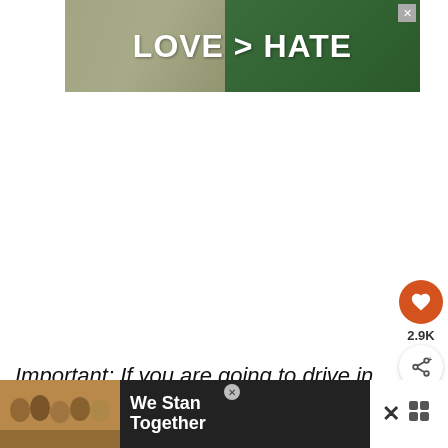[Figure (photo): Advertisement banner showing hands forming a heart shape with text 'LOVE > HATE' on green background]
[Figure (photo): Orange circular like/heart button with 2.9K count below it, and a share button beneath]
[Figure (infographic): What's Next panel showing thumbnail of waterfall with text 'Hiking to Fuipisia Fall...']
Important: If you are going to drive in Samoa, be aware that the drive on the left-hand side of
[Figure (photo): Bottom advertisement with group of people photo and text 'We Stand Together']